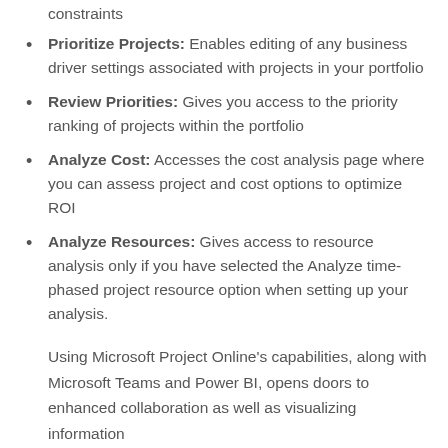constraints
Prioritize Projects: Enables editing of any business driver settings associated with projects in your portfolio
Review Priorities: Gives you access to the priority ranking of projects within the portfolio
Analyze Cost: Accesses the cost analysis page where you can assess project and cost options to optimize ROI
Analyze Resources: Gives access to resource analysis only if you have selected the Analyze time-phased project resource option when setting up your analysis.
Using Microsoft Project Online’s capabilities, along with Microsoft Teams and Power BI, opens doors to enhanced collaboration as well as visualizing information